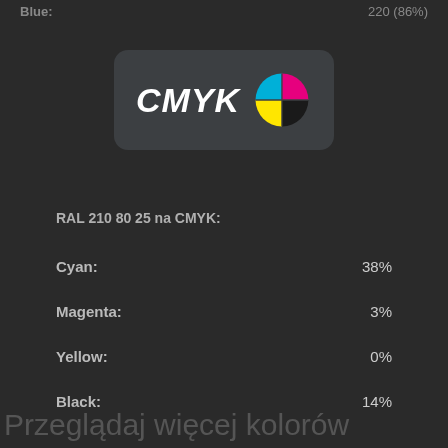Blue:         220 (86%)
[Figure (logo): CMYK logo with colored circle divided into cyan, magenta, yellow, and black quadrants on dark rounded rectangle background]
RAL 210 80 25 na CMYK:
Cyan:    38%
Magenta:    3%
Yellow:    0%
Black:    14%
Przeglądaj więcej kolorów